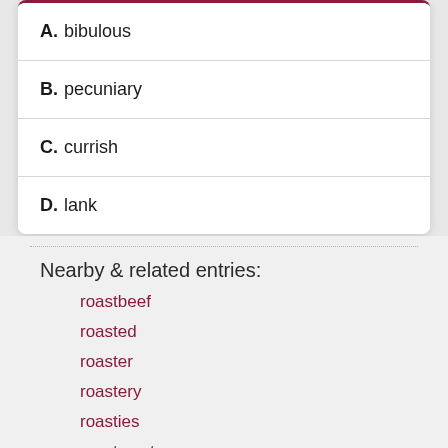A. bibulous
B. pecuniary
C. currish
D. lank
Nearby & related entries:
roastbeef
roasted
roaster
roastery
roasties
roastmaster